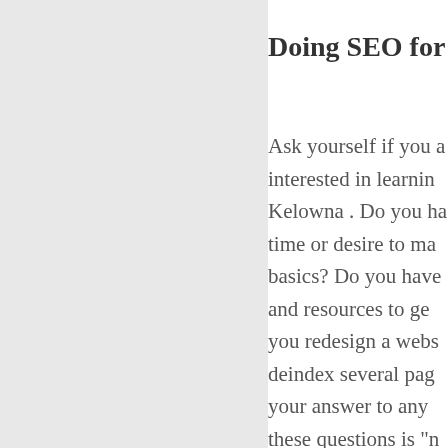Doing SEO for yo
Ask yourself if you a interested in learnin Kelowna . Do you ha time or desire to ma basics? Do you have and resources to ge you redesign a webs deindex several pag your answer to any these questions is "n you may not want to the responsibility. SE long-term game. In see results, you nee at it. It takes a lot o